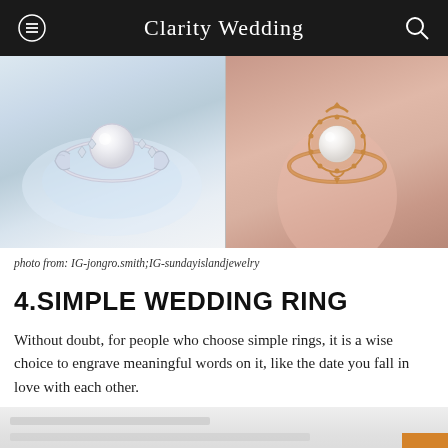Clarity Wedding
[Figure (photo): Two pearl rings side by side: left image shows a silver pearl ring with diamond accents on white lace background; right image shows a rose gold pearl ring with decorative setting worn on a finger.]
photo from: IG-jongro.smith;IG-sundayislandjewelry
4.SIMPLE WEDDING RING
Without doubt, for people who choose simple rings, it is a wise choice to engrave meaningful words on it, like the date you fall in love with each other.
[Figure (photo): Partially visible photo at the bottom of the page, appears to show another ring or jewelry image, cropped.]